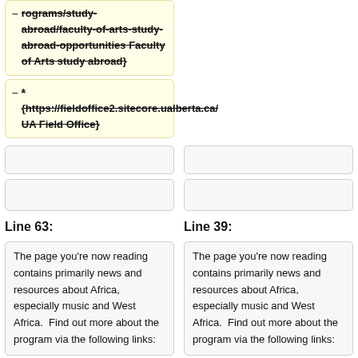– rograms/study-abroad/faculty-of-arts-study-abroad-opportunities Faculty of Arts study abroad} (strikethrough)
– * {https://fieldoffice2.sitecore.ualberta.ca/ UA Field Office} (strikethrough)
Line 63:
Line 39:
The page you're now reading contains primarily news and resources about Africa, especially music and West Africa.  Find out more about the program via the following links:
The page you're now reading contains primarily news and resources about Africa, especially music and West Africa.  Find out more about the program via the following links: